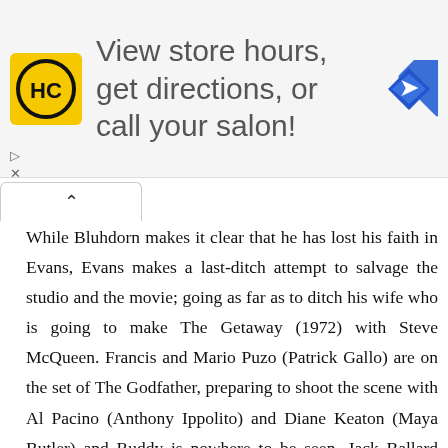[Figure (infographic): Advertisement banner: HC logo (yellow square with black circle and HC letters), text 'View store hours, get directions, or call your salon!', blue diamond navigation icon on the right. Small play and X controls at bottom-left of ad area.]
While Bluhdorn makes it clear that he has lost his faith in Evans, Evans makes a last-ditch attempt to salvage the studio and the movie; going as far as to ditch his wife who is going to make The Getaway (1972) with Steve McQueen. Francis and Mario Puzo (Patrick Gallo) are on the set of The Godfather, preparing to shoot the scene with Al Pacino (Anthony Ippolito) and Diane Keaton (Maya Butler) and Ruddy is nowhere to be seen. Jack Ballard (Paul McCrane) and editor Aram Avakian (Geoffrey Arend) see this as an opportunity to talk smack about the production and how things are bound to go downhill because of the Mafia's